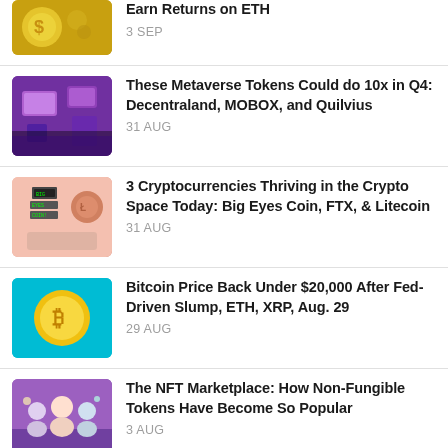Earn Returns on ETH
These Metaverse Tokens Could do 10x in Q4: Decentraland, MOBOX, and Quilvius
3 Cryptocurrencies Thriving in the Crypto Space Today: Big Eyes Coin, FTX, & Litecoin
Bitcoin Price Back Under $20,000 After Fed-Driven Slump, ETH, XRP, Aug. 29
The NFT Marketplace: How Non-Fungible Tokens Have Become So Popular
Things You Need to know About Decentralized Finance